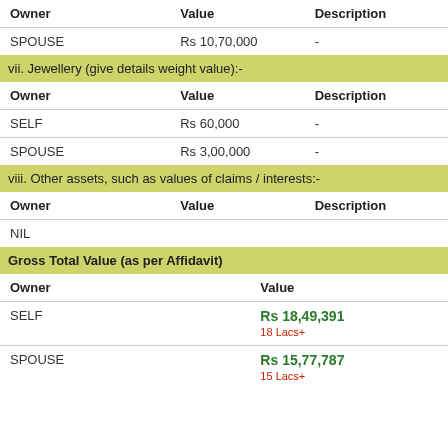| Owner | Value | Description |
| --- | --- | --- |
| SPOUSE | Rs 10,70,000 | - |
vii. Jewellery (give details weight value):-
| Owner | Value | Description |
| --- | --- | --- |
| SELF | Rs 60,000 | - |
| SPOUSE | Rs 3,00,000 | - |
viii. Other assets, such as values of claims / interests:-
| Owner | Value | Description |
| --- | --- | --- |
| NIL |  |  |
Gross Total Value (as per Affidavit)
| Owner | Value |
| --- | --- |
| SELF | Rs 18,49,391
18 Lacs+ |
| SPOUSE | Rs 15,77,787
15 Lacs+ |